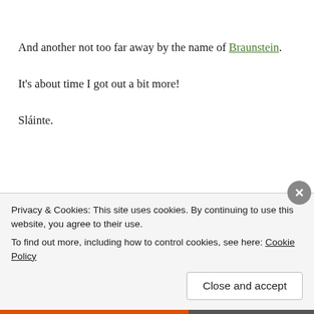And another not too far away by the name of Braunstein.
It's about time I got out a bit more!
Sláinte.
[Figure (logo): Partially visible whiskey-related logo with hexagonal emblem and text starting with letters 'WHISKEY' partially cut off]
Privacy & Cookies: This site uses cookies. By continuing to use this website, you agree to their use.
To find out more, including how to control cookies, see here: Cookie Policy
Close and accept